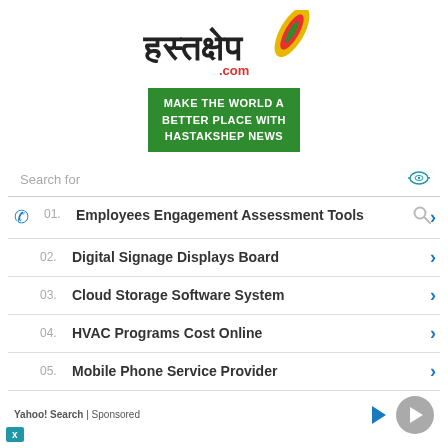[Figure (logo): Hastakshep.com Hindi news logo with feather pen icon and colorful flame]
[Figure (infographic): Green banner reading MAKE THE WORLD A BETTER PLACE WITH HASTAKSHEP NEWS]
Search for
01. Employees Engagement Assessment Tools
02. Digital Signage Displays Board
03. Cloud Storage Software System
04. HVAC Programs Cost Online
05. Mobile Phone Service Provider
Yahoo! Search | Sponsored